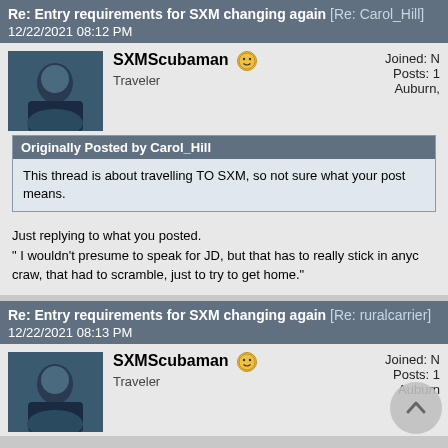Re: Entry requirements for SXM changing again [Re: Carol_Hill]
12/22/2021 08:12 PM
SXMScubaman
Traveler
Joined: N
Posts: 1
Auburn,
Originally Posted by Carol_Hill
This thread is about travelling TO SXM, so not sure what your post means.
Just replying to what you posted.
" I wouldn't presume to speak for JD, but that has to really stick in anyc craw, that had to scramble, just to try to get home."
Re: Entry requirements for SXM changing again [Re: ruralcarrier]
12/22/2021 08:13 PM
SXMScubaman
Traveler
Joined: N
Posts: 1
Auburn